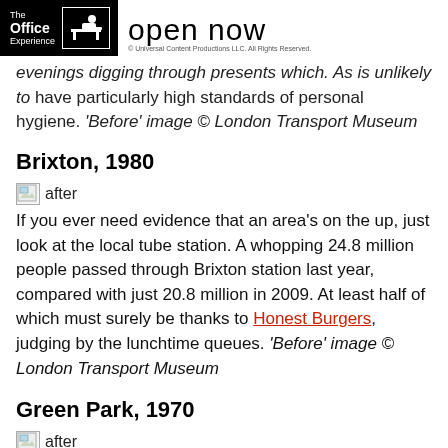The Office Experience | open now | © Universal Content Productions LLC. All Rights Reserved.
evenings digging through presents which. As is unlikely to have particularly high standards of personal hygiene. 'Before' image © London Transport Museum
Brixton, 1980
[Figure (photo): Broken/placeholder image icon labeled 'after']
If you ever need evidence that an area's on the up, just look at the local tube station. A whopping 24.8 million people passed through Brixton station last year, compared with just 20.8 million in 2009. At least half of which must surely be thanks to Honest Burgers, judging by the lunchtime queues. 'Before' image © London Transport Museum
Green Park, 1970
[Figure (photo): Broken/placeholder image icon labeled 'after' (partially visible)]